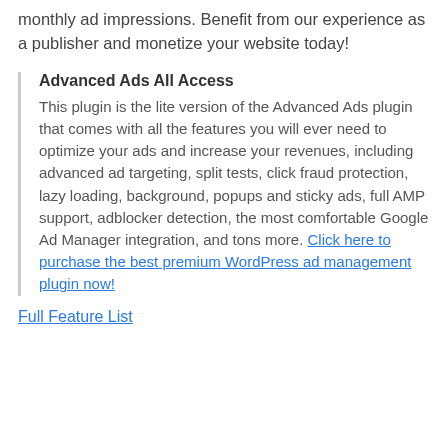monthly ad impressions. Benefit from our experience as a publisher and monetize your website today!
Advanced Ads All Access
This plugin is the lite version of the Advanced Ads plugin that comes with all the features you will ever need to optimize your ads and increase your revenues, including advanced ad targeting, split tests, click fraud protection, lazy loading, background, popups and sticky ads, full AMP support, adblocker detection, the most comfortable Google Ad Manager integration, and tons more. Click here to purchase the best premium WordPress ad management plugin now!
Full Feature List